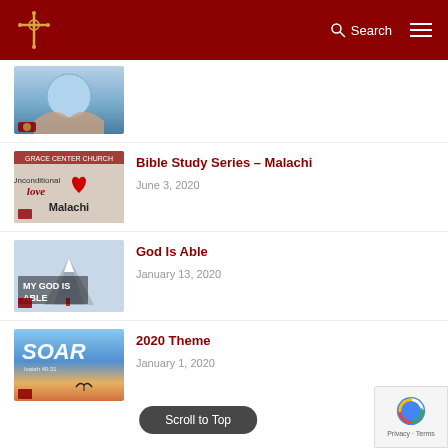Church website header with logo, Search, and navigation menu
[Figure (screenshot): Thumbnail image of hands holding a heart-shaped water droplet globe]
[Figure (screenshot): Thumbnail image for Bible Study Series – Malachi, showing text 'Unconditional love' and 'Malachi' with a red heart]
Bible Study Series – Malachi
June 3, 2020
[Figure (screenshot): Thumbnail image for God Is Able, showing mountain scene with text 'MY GOD IS ABLE']
God Is Able
January 13, 2020
[Figure (screenshot): Thumbnail image for 2020 Theme, showing sky with bird and text 'SOAR']
2020 Theme
January 1, 2020
Scroll to Top